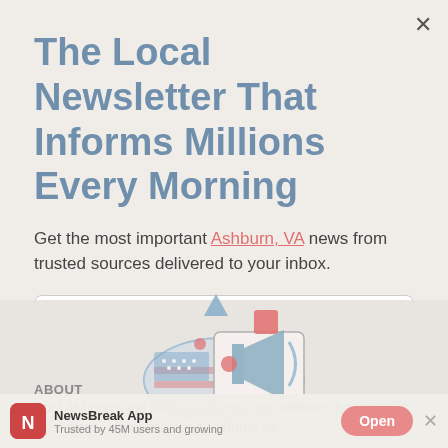The Local Newsletter That Informs Millions Every Morning
Get the most important Ashburn, VA news from trusted sources delivered to your inbox.
e.g. johnsmith@example.com
Sign up
[Figure (illustration): Illustration of a megaphone on a USA map shape with red and blue accents, overlapping the modal and background section]
ABOUT
Kool AM plays the best classic hits and delivers the latest local news, information and features for
NewsBreak App  Trusted by 45M users and growing
Open